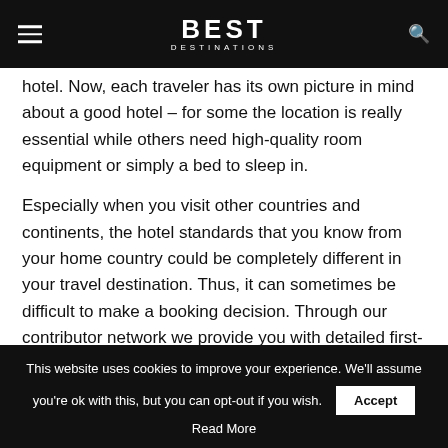BEST DESTINATIONS
hotel. Now, each traveler has its own picture in mind about a good hotel – for some the location is really essential while others need high-quality room equipment or simply a bed to sleep in.
Especially when you visit other countries and continents, the hotel standards that you know from your home country could be completely different in your travel destination. Thus, it can sometimes be difficult to make a booking decision. Through our contributor network we provide you with detailed first-hand experiences and information that
This website uses cookies to improve your experience. We'll assume you're ok with this, but you can opt-out if you wish. Accept Read More